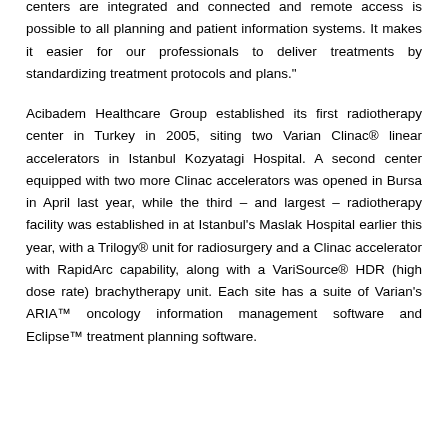centers are integrated and connected and remote access is possible to all planning and patient information systems. It makes it easier for our professionals to deliver treatments by standardizing treatment protocols and plans."
Acibadem Healthcare Group established its first radiotherapy center in Turkey in 2005, siting two Varian Clinac® linear accelerators in Istanbul Kozyatagi Hospital. A second center equipped with two more Clinac accelerators was opened in Bursa in April last year, while the third – and largest – radiotherapy facility was established in at Istanbul's Maslak Hospital earlier this year, with a Trilogy® unit for radiosurgery and a Clinac accelerator with RapidArc capability, along with a VariSource® HDR (high dose rate) brachytherapy unit. Each site has a suite of Varian's ARIA™ oncology information management software and Eclipse™ treatment planning software.